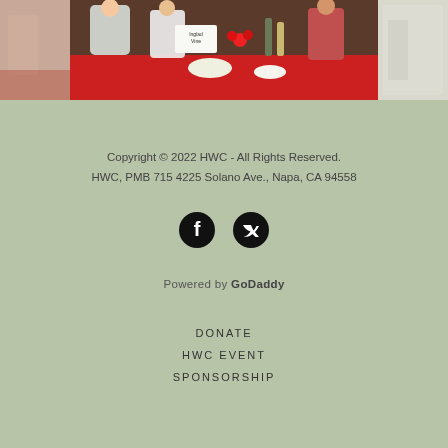[Figure (photo): A collage of three event photos showing people at a wine tasting event with red tablecloth, bottles, food, and roses.]
Copyright © 2022 HWC - All Rights Reserved.
HWC, PMB 715 4225 Solano Ave., Napa, CA 94558
[Figure (infographic): Facebook and Twitter social media icons (black circles with white logos)]
Powered by GoDaddy
DONATE
HWC EVENT
SPONSORSHIP